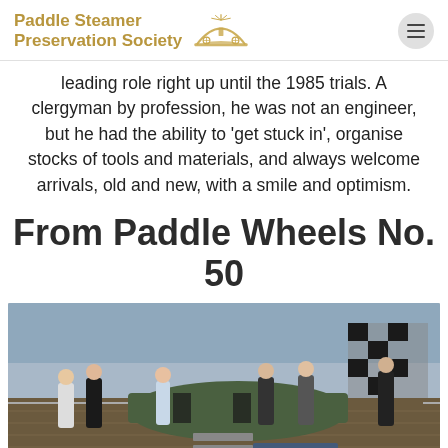Paddle Steamer Preservation Society
leading role right up until the 1985 trials. A clergyman by profession, he was not an engineer, but he had the ability to 'get stuck in', organise stocks of tools and materials, and always welcome arrivals, old and new, with a smile and optimism.
From Paddle Wheels No. 50
[Figure (photo): People standing on the deck of a paddle steamer, with a covered object and a checkered flag visible. Water visible in background.]